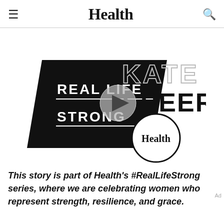Health
[Figure (logo): Real Life Strong / Kate Speer branded video thumbnail with Health magazine logo circle and play button overlay]
This story is part of Health's #RealLifeStrong series, where we are celebrating women who represent strength, resilience, and grace.